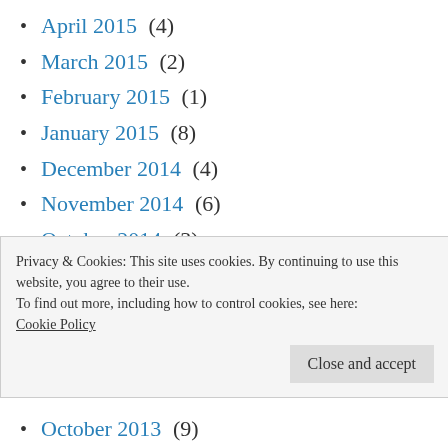April 2015 (4)
March 2015 (2)
February 2015 (1)
January 2015 (8)
December 2014 (4)
November 2014 (6)
October 2014 (3)
July 2014 (2)
June 2014 (8)
May 2014 (3)
April 2014 (1)
Privacy & Cookies: This site uses cookies. By continuing to use this website, you agree to their use.
To find out more, including how to control cookies, see here:
Cookie Policy
October 2013 (9)